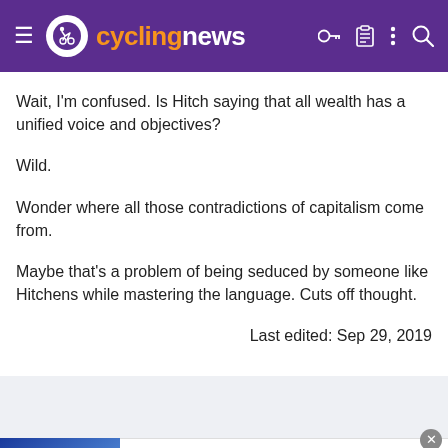cyclingnews
Wait, I'm confused. Is Hitch saying that all wealth has a unified voice and objectives?
Wild.
Wonder where all those contradictions of capitalism come from.
Maybe that's a problem of being seduced by someone like Hitchens while mastering the language. Cuts off thought.
Last edited: Sep 29, 2019
[Figure (other): Advertisement banner for Computer Repair service with an image of hands on keyboard, text 'COMPUTER REPAIR', 'visit computerrepair247.online/ to learn more', 'www.computerrepair247.online', and a blue circular arrow button]